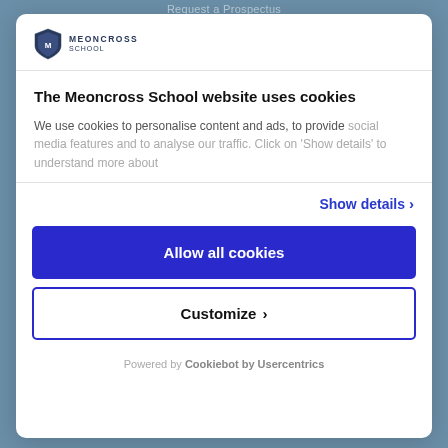Request a Prospectus
[Figure (logo): Meoncross School shield logo with school name text]
The Meoncross School website uses cookies
We use cookies to personalise content and ads, to provide social media features and to analyse our traffic. Click on 'Show details' to understand more about
Show details >
Allow all cookies
Customize >
Powered by Cookiebot by Usercentrics